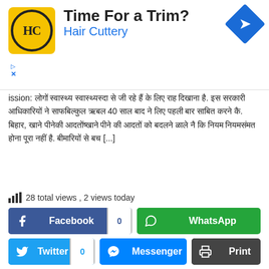[Figure (advertisement): Hair Cuttery ad with logo, title 'Time For a Trim?' and navigation icon]
ission: ██████ ████████ █████████████ ██ ███ ███ ███████ ██. ██ ██████████████ ██ █████ ███ 40 ████ █████ ██ █████ ████ ████ ██. █████, █████ █████████ █████████████ ██ ███████ ██████ ███ ███████ ████ ████ ██. ██████████ ██ ██ [...]
28 total views , 2 views today
[Figure (infographic): Social sharing buttons: Facebook (0), WhatsApp, Twitter (0), Messenger, Print, Pinterest (0), LinkedIn, Reddit (0)]